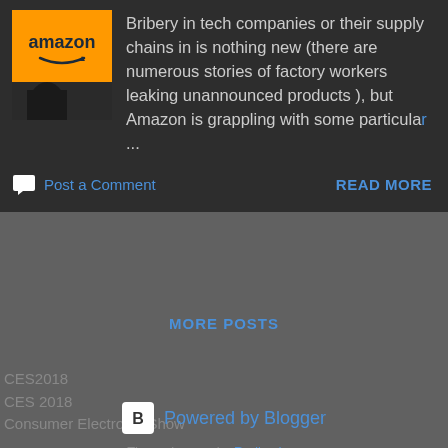[Figure (logo): Amazon logo on orange background with dark image below]
Bribery in tech companies or their supply chains in is nothing new (there are numerous stories of factory workers leaking unannounced products ), but Amazon is grappling with some particula...
Post a Comment
READ MORE
MORE POSTS
CES2018
CES 2018
Consumer Electronic Show
Powered by Blogger
Theme images by Radius Images